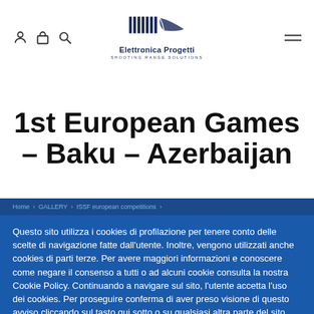[Figure (logo): Elettronica Progetti logo with barcode-style graphic and text 'SHOOTING RANGE SOLUTIONS']
1st European Games – Baku – Azerbaijan
Home › GALLERY › ISSF european competitions ›
Questo sito utilizza i cookies di profilazione per tenere conto delle scelte di navigazione fatte dall'utente. Inoltre, vengono utilizzati anche cookies di parti terze. Per avere maggiori informazioni e conoscere come negare il consenso a tutti o ad alcuni cookie consulta la nostra Cookie Policy. Continuando a navigare sul sito, l'utente accetta l'uso dei cookies. Per proseguire conferma di aver preso visione di questo avviso cliccando sul tasto qui sotto o su qualsiasi altra parte del sito.
Impostazioni cookie | Accetta tutti